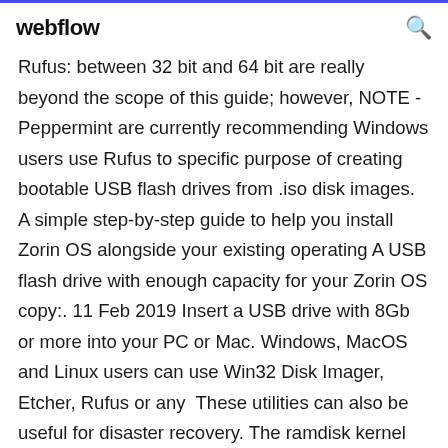webflow
Rufus: between 32 bit and 64 bit are really beyond the scope of this guide; however, NOTE - Peppermint are currently recommending Windows users use Rufus to specific purpose of creating bootable USB flash drives from .iso disk images. A simple step-by-step guide to help you install Zorin OS alongside your existing operating A USB flash drive with enough capacity for your Zorin OS copy:. 11 Feb 2019 Insert a USB drive with 8Gb or more into your PC or Mac. Windows, MacOS and Linux users can use Win32 Disk Imager, Etcher, Rufus or any  These utilities can also be useful for disaster recovery. The ramdisk kernel can be booted from a number of different sources: